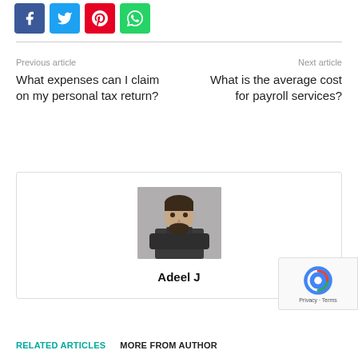[Figure (other): Social share buttons: Facebook (blue), Twitter (cyan), Pinterest (red), WhatsApp (green)]
Previous article
What expenses can I claim on my personal tax return?
Next article
What is the average cost for payroll services?
[Figure (photo): Author photo: man with beard and dark shirt, arms crossed, gray background — Adeel J]
Adeel J
[Figure (other): reCAPTCHA badge — Privacy · Terms]
RELATED ARTICLES
MORE FROM AUTHOR